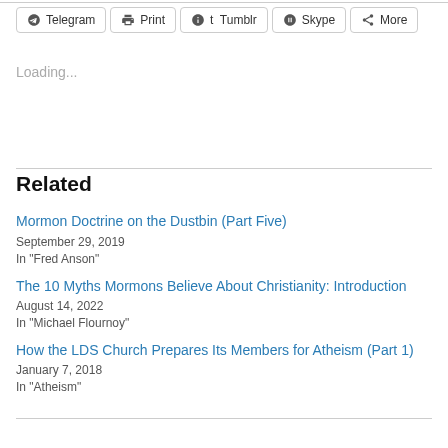[Figure (other): Row of social share buttons: Telegram, Print, Tumblr, Skype, More]
Loading...
Related
Mormon Doctrine on the Dustbin (Part Five)
September 29, 2019
In "Fred Anson"
The 10 Myths Mormons Believe About Christianity: Introduction
August 14, 2022
In "Michael Flournoy"
How the LDS Church Prepares Its Members for Atheism (Part 1)
January 7, 2018
In "Atheism"